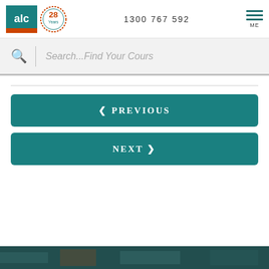[Figure (logo): ALC logo with teal square containing 'alc' text and orange bottom bar, alongside a 28 Years anniversary badge in orange and teal circular design]
1300 767 592
[Figure (other): Hamburger menu icon with three teal horizontal lines and 'ME' label]
Search...Find Your Cours
❮ PREVIOUS
NEXT ❯
[Figure (photo): Dark teal/green image strip at bottom of page]